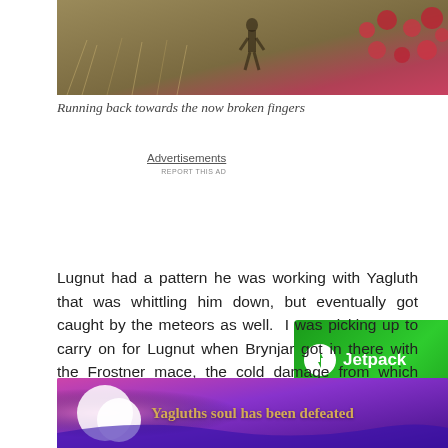[Figure (photo): Outdoor photo showing a person running through tall grass field with red flowers/foliage on the right side]
Running back towards the now broken fingers
[Figure (infographic): Jetpack advertisement banner with green background, Jetpack logo on left and 'Back up your site' button on right]
Lugnut had a pattern he was working with Yagluth that was whittling him down, but eventually got caught by the meteors as well.  I was picking up to carry on for Lugnut when Brynjar got in there with the Frostner mace, the cold damage from which seemed to hit pretty hard on Yagluth, and finished him off.  He was down at last.
[Figure (screenshot): Game screenshot with purple/pink background showing text 'Yagluths soul has been defeated' in golden colored font]